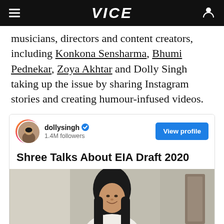VICE
musicians, directors and content creators, including Konkona Sensharma, Bhumi Pednekar, Zoya Akhtar and Dolly Singh taking up the issue by sharing Instagram stories and creating humour-infused videos.
[Figure (screenshot): Instagram embed showing dollysingh profile with 1.4M followers, a 'View profile' button, and a post titled 'Shree Talks About EIA Draft 2020' with a photo of a woman smiling.]